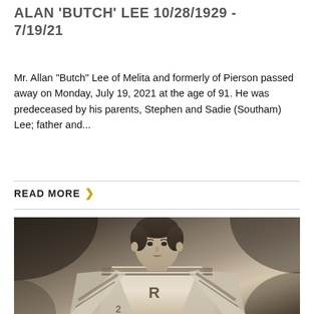ALAN 'BUTCH' LEE 10/28/1929 - 7/19/21
Mr. Allan "Butch" Lee of Melita and formerly of Pierson passed away on Monday, July 19, 2021 at the age of 91. He was predeceased by his parents, Stephen and Sadie (Southam) Lee; father and...
READ MORE >
[Figure (photo): Vintage black and white photograph of a young man in a hockey jersey with the letter R (Rangers), leaning forward in a hockey pose]